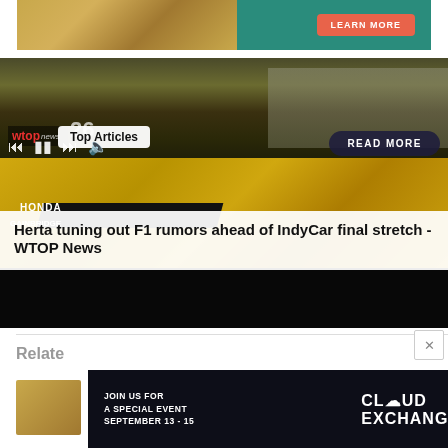[Figure (screenshot): Top advertisement banner with teal background, straw/hay image on left, and orange 'LEARN MORE' button on right]
[Figure (photo): WTOP News article image showing IndyCar driver Colton Herta celebrating on a yellow/black Gainbridge Honda IndyCar, surrounded by team members, with 'Top Articles' badge, media playback controls, and READ MORE button overlaid]
Herta tuning out F1 rumors ahead of IndyCar final stretch - WTOP News
Relate
[Figure (screenshot): Bottom advertisement for Cloud Exchange event: 'JOIN US FOR A SPECIAL EVENT SEPTEMBER 13-15' with Cloud Exchange logo on dark background]